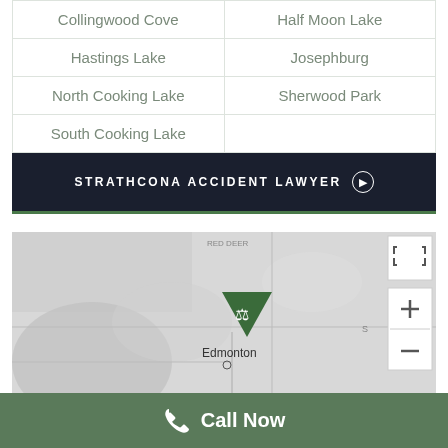| Collingwood Cove | Half Moon Lake |
| Hastings Lake | Josephburg |
| North Cooking Lake | Sherwood Park |
| South Cooking Lake |  |
STRATHCONA ACCIDENT LAWYER ⊙
[Figure (map): Grayscale map showing Edmonton area with a green law scales marker pin over Edmonton and zoom/fullscreen controls. Saskatoon label visible at bottom right.]
Call Now